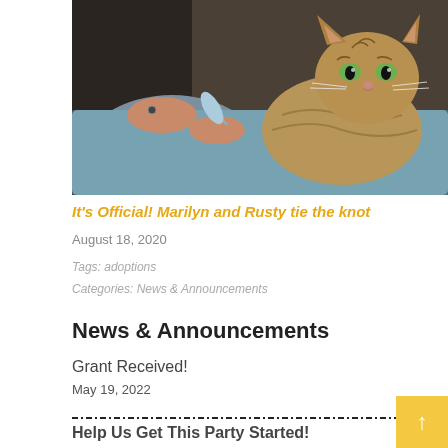[Figure (photo): Photo of a tabby cat with green eyes being held by a person's hands on a blue blanket]
It's Official! Marilyn and Rusty tie the knot
August 18, 2020
Tags: adoptions
Categories: News & Announcements
News & Announcements
Grant Received!
May 19, 2022
Help Us Get This Party Started!